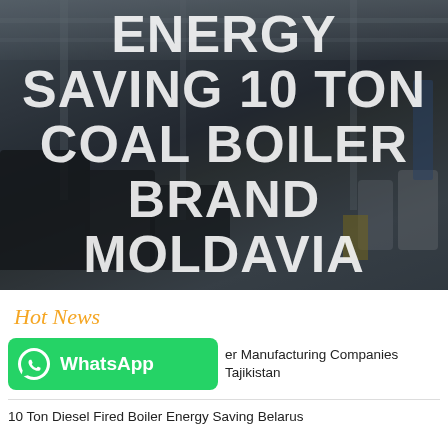[Figure (photo): Industrial factory interior with large coal boilers and manufacturing equipment. Dark semi-transparent overlay with white bold title text overlaid on the image.]
ENERGY SAVING 10 TON COAL BOILER BRAND MOLDAVIA
Hot News
[Figure (logo): WhatsApp green button with WhatsApp icon and text 'WhatsApp']
er Manufacturing Companies Tajikistan
10 Ton Diesel Fired Boiler Energy Saving Belarus